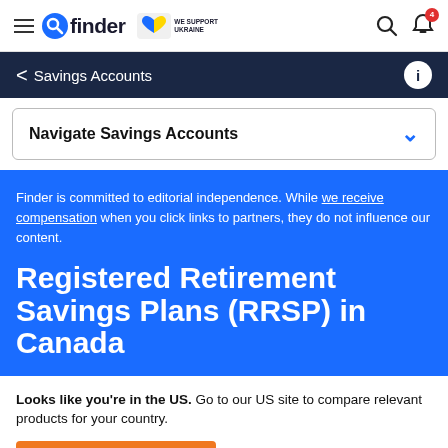finder WE SUPPORT UKRAINE
< Savings Accounts
Navigate Savings Accounts
Finder is committed to editorial independence. While we receive compensation when you click links to partners, they do not influence our content.
Registered Retirement Savings Plans (RRSP) in Canada
Looks like you're in the US. Go to our US site to compare relevant products for your country.
Go to Finder US
No, stay on this page